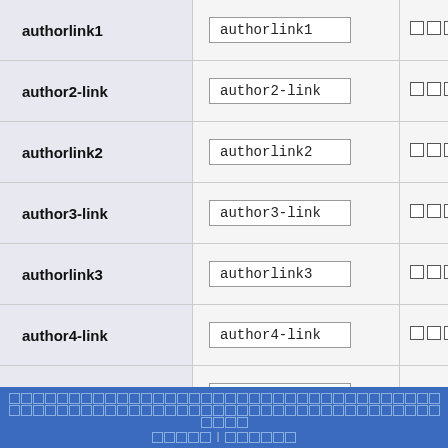| Parameter | Value | Controls |
| --- | --- | --- |
| authorlink1 | authorlink1 | ☐☐☐ |
| author2-link | author2-link | ☐☐☐ |
| authorlink2 | authorlink2 | ☐☐☐ |
| author3-link | author3-link | ☐☐☐ |
| authorlink3 | authorlink3 | ☐☐☐ |
| author4-link | author4-link | ☐☐☐ ↑ |
| authorlink4 | authorlink4 | ☐☐☐ ↓ |
□□□□□□□□□□□□□□□□□□□□□□□□□□□□□□□□□□□□□□□□□□□□□□□□□□□□□□□□□□□□□□□□□□□□□□□□□□□□□ □□□□□ | □□□□□□